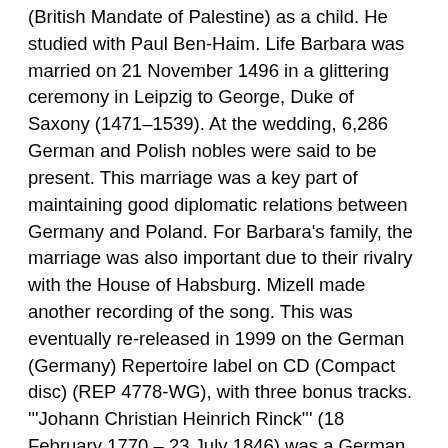(British Mandate of Palestine) as a child. He studied with Paul Ben-Haim. Life Barbara was married on 21 November 1496 in a glittering ceremony in Leipzig to George, Duke of Saxony (1471–1539). At the wedding, 6,286 German and Polish nobles were said to be present. This marriage was a key part of maintaining good diplomatic relations between Germany and Poland. For Barbara's family, the marriage was also important due to their rivalry with the House of Habsburg. Mizell made another recording of the song. This was eventually re-released in 1999 on the German (Germany) Repertoire label on CD (Compact disc) (REP 4778-WG), with three bonus tracks. '''Johann Christian Heinrich Rinck''' (18 February 1770 – 23 July 1846) was a German (Germany) composer and organist of the late classical (Classical period (music)) and early romantic (Romantic music) eras. Greece After the German (Germany) invasion of Greece, a Nazi-held government was put in place. All three quisling prime ministers, (Georgios Tsolakoglou, Konstantinos Logothetopoulos and Ioannis Rallis), cooperated with the Axis authorities. Small but active Greek National-Socialist parties, like the Greek National Socialist Party, or openly anti-semitic organisations, like the National Union of Greece, helped German authorities fight the Resistance (Greek Resistance).